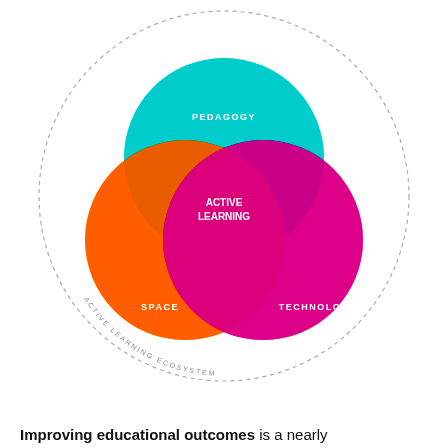[Figure (infographic): Venn diagram of three overlapping circles labeled PEDAGOGY (cyan, top), SPACE (orange, left), and TECHNOLOGY (magenta, right), with ACTIVE LEARNING at the center intersection. A large dashed outer circle is labeled ACTIVE LEARNING ECOSYSTEM.]
Improving educational outcomes is a nearly